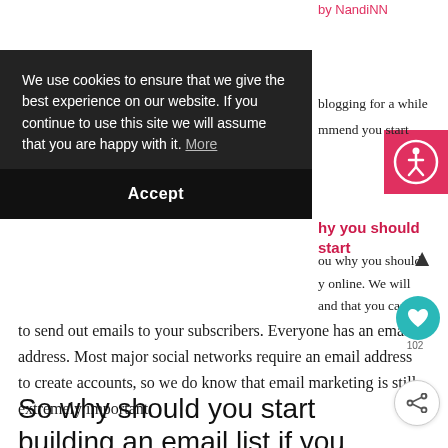by NandiNN
blogging for a while
mmend you start
hy you should start
ou why you should
y online. We will
and that you can use to send out emails to your subscribers. Everyone has an email address. Most major social networks require an email address to create accounts, so we do know that email marketing is still extremely important.
[Figure (screenshot): Cookie consent overlay with dark background. Text: 'We use cookies to ensure that we give the best experience on our website. If you continue to use this site we will assume that you are happy with it. More'. Black Accept button below.]
[Figure (infographic): Accessibility icon (person in circle) on pink/red background, top right corner]
So why should you start building an email list if you want to make money online?
It's the best way to communicate with your